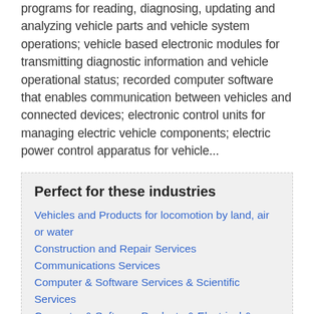programs for reading, diagnosing, updating and analyzing vehicle parts and vehicle system operations; vehicle based electronic modules for transmitting diagnostic information and vehicle operational status; recorded computer software that enables communication between vehicles and connected devices; electronic control units for managing electric vehicle components; electric power control apparatus for vehicle...
Perfect for these industries
Vehicles and Products for locomotion by land, air or water
Construction and Repair Services
Communications Services
Computer & Software Services & Scientific Services
Computer & Software Products & Electrical & Scientific Products
Words that describe this mark